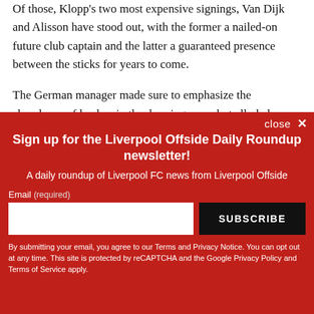Of these, Klopp's two most expensive signings, Van Dijk and Alisson have stood out, with the former a nailed-on future club captain and the latter a guaranteed presence between the sticks for years to come.
The German manager made sure to emphasize the abundance of leaders in the dressing room but alluded...
[Figure (other): Newsletter sign-up overlay with red background. Title: 'Sign up for the Liverpool Offside Daily Roundup newsletter!' Subtitle: 'A daily roundup of Liverpool FC news from Liverpool Offside'. Email input field with SUBSCRIBE button. Disclaimer text about Terms, Privacy Notice, reCAPTCHA, Google Privacy Policy and Terms of Service.]